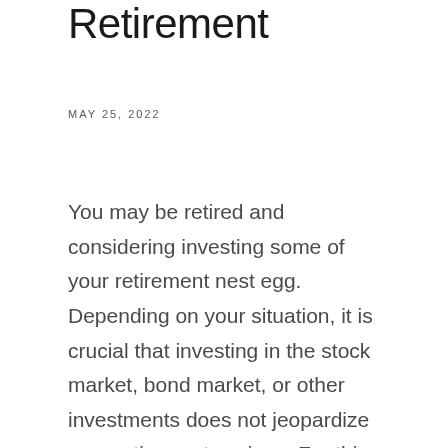Retirement
MAY 25, 2022
You may be retired and considering investing some of your retirement nest egg. Depending on your situation, it is crucial that investing in the stock market, bond market, or other investments does not jeopardize your retirement savings. For this reason,